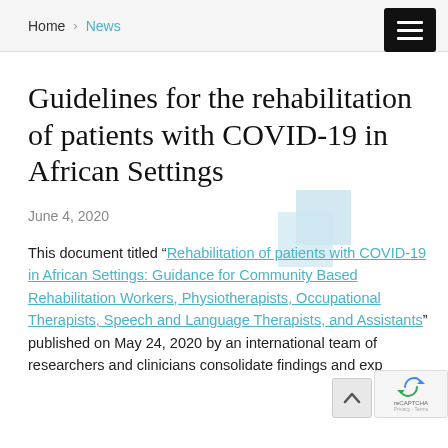Home > News
Guidelines for the rehabilitation of patients with COVID-19 in African Settings
June 4, 2020
This document titled “Rehabilitation of patients with COVID-19 in African Settings: Guidance for Community Based Rehabilitation Workers, Physiotherapists, Occupational Therapists, Speech and Language Therapists, and Assistants” published on May 24, 2020 by an international team of researchers and clinicians consolidate findings and exp…